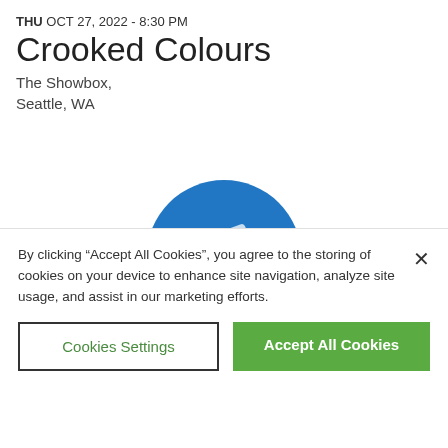THU OCT 27, 2022 - 8:30 PM
Crooked Colours
The Showbox,
Seattle, WA
[Figure (illustration): Ticket icon in dark background box with chevron]
[Figure (illustration): Blue circle with white ticket icon in center]
Tickets for Crooked
By clicking “Accept All Cookies”, you agree to the storing of cookies on your device to enhance site navigation, analyze site usage, and assist in our marketing efforts.
Cookies Settings
Accept All Cookies